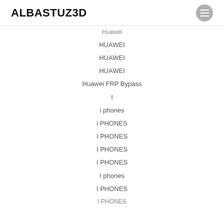ALBASTUZ3D
Huawei
HUAWEI
HUAWEI
HUAWEI
Huawei FRP Bypass
I
i phones
i PHONES
I PHONES
I PHONES
I PHONES
I phones
I PHONES
I PHONES